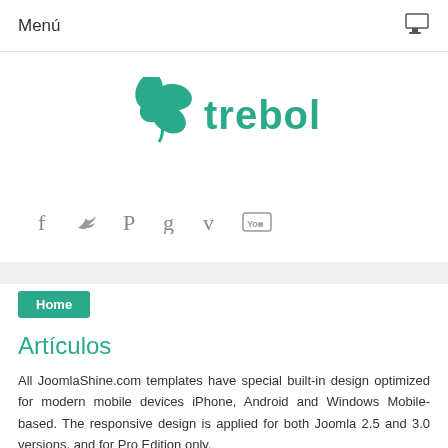Menú
[Figure (logo): Trébol logo with green clover icon and text 'trebol' in teal]
[Figure (infographic): Social media icons: Facebook, Twitter, Pinterest, Google+, Vimeo, YouTube]
Home
Artículos
All JoomlaShine.com templates have special built-in design optimized for modern mobile devices iPhone, Android and Windows Mobile-based. The responsive design is applied for both Joomla 2.5 and 3.0 versions, and for Pro Edition only.
Unlike other template providers, we do not develop something that